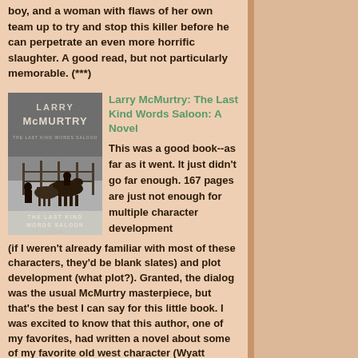boy, and a woman with flaws of her own team up to try and stop this killer before he can perpetrate an even more horrific slaughter. A good read, but not particularly memorable. (***)
[Figure (illustration): Book cover of 'The Last Kind Words Saloon' by Larry McMurtry, showing a wintry scene with a person on horseback and horses near a fence in snow, with text 'LARRY McMURTRY' at top and 'THE LAST KIND WORDS SALOON' at bottom]
Larry McMurtry: The Last Kind Words Saloon: A Novel
This was a good book--as far as it went. It just didn't go far enough. 167 pages are just not enough for multiple character development (if I weren't already familiar with most of these characters, they'd be blank slates) and plot development (what plot?). Granted, the dialog was the usual McMurtry masterpiece, but that's the best I can say for this little book. I was excited to know that this author, one of my favorites, had written a novel about some of my favorite old west character (Wyatt